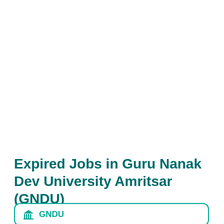Expired Jobs in Guru Nanak Dev University Amritsar (GNDU)
GNDU